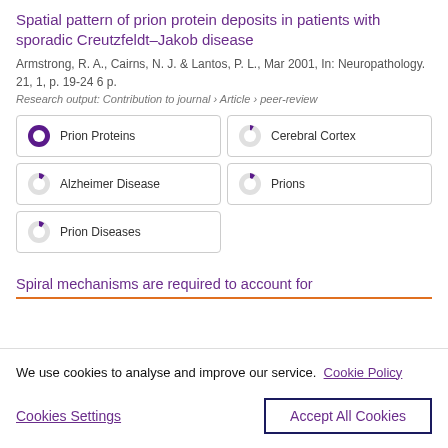Spatial pattern of prion protein deposits in patients with sporadic Creutzfeldt–Jakob disease
Armstrong, R. A., Cairns, N. J. & Lantos, P. L., Mar 2001, In: Neuropathology. 21, 1, p. 19-24 6 p.
Research output: Contribution to journal › Article › peer-review
[Figure (infographic): Five keyword badges with donut chart icons: Prion Proteins (100% filled), Cerebral Cortex (~10% filled), Alzheimer Disease (~14% filled), Prions (~13% filled), Prion Diseases (~14% filled)]
Spiral mechanisms are required to account for
We use cookies to analyse and improve our service.  Cookie Policy
Cookies Settings    Accept All Cookies